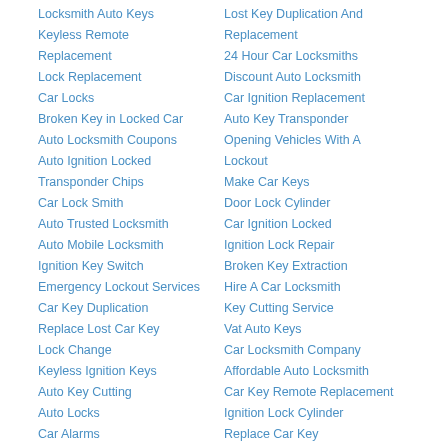Locksmith Auto Keys
Keyless Remote Replacement
Lock Replacement
Car Locks
Broken Key in Locked Car
Auto Locksmith Coupons
Auto Ignition Locked
Transponder Chips
Car Lock Smith
Auto Trusted Locksmith
Auto Mobile Locksmith
Ignition Key Switch
Emergency Lockout Services
Car Key Duplication
Replace Lost Car Key
Lock Change
Keyless Ignition Keys
Auto Key Cutting
Auto Locks
Car Alarms
Auto Locksmith Company
Car Key Ignition
Mobile 24 hour Locksmith
Lost Key Duplication And Replacement
24 Hour Car Locksmiths
Discount Auto Locksmith
Car Ignition Replacement
Auto Key Transponder
Opening Vehicles With A Lockout
Make Car Keys
Door Lock Cylinder
Car Ignition Locked
Ignition Lock Repair
Broken Key Extraction
Hire A Car Locksmith
Key Cutting Service
Vat Auto Keys
Car Locksmith Company
Affordable Auto Locksmith
Car Key Remote Replacement
Ignition Lock Cylinder
Replace Car Key
Ignition Key Stuck
Auto Key Ignition
Ignition Key